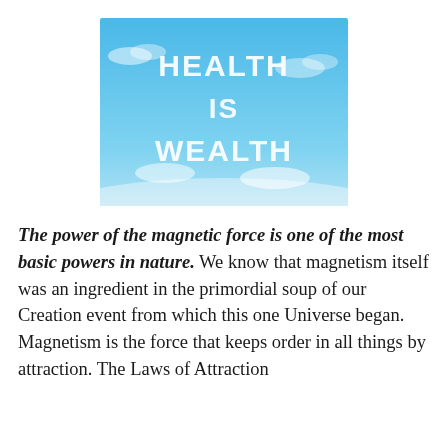[Figure (illustration): Sky background with cloud-like white text reading 'HEALTH IS WEALTH' against a blue sky with scattered clouds]
The power of the magnetic force is one of the most basic powers in nature. We know that magnetism itself was an ingredient in the primordial soup of our Creation event from which this one Universe began. Magnetism is the force that keeps order in all things by attraction. The Laws of Attraction